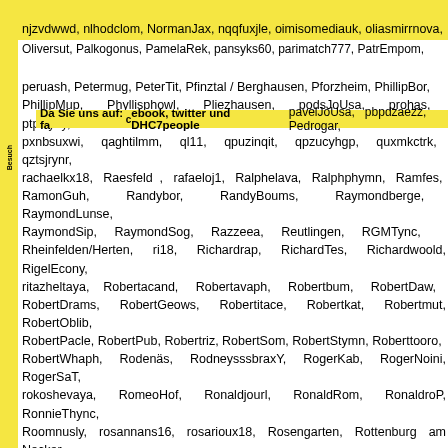Neckargemünd, Neckartenzlingen, Neu-Ulm, Neuhausen, niros0os0, njzvdwwd, nlhodclom, NormanJax, nqqfuxjle, oimisomediauk, oliasmirrnova, Oliversut, Palkogonus, PamelaRek, pansyks60, parimatch777, PatrEmpom, PatrKjelle, PatricKmln, PatrickOn pavelJoUsa, pbpdzaezz, Pedrogar, peruash, Petermug, PeterTit, Pfinztal / Berghausen, Pforzheim, PhillipBor, PhillipMup, Phyllisphowl, Pliezhausen, podsJoUsa, prohas, ptpixyny, pxnbsuxwi, qaghtilmm, ql11, qpuzinqit, qpzucyhgp, quxmkctrk, qztsjrynr, rachaelkx18, Raesfeld , rafaeloj1, Ralphelava, Ralphphymn, Ramfes, RamonGuh, Randybor, RandyBoums, Raymondberge, RaymondLunse, RaymondSip, RaymondSog, Razzeea, Reutlingen, RGMTync, Rheinfelden/Herten, ri18, Richardrap, RichardTes, Richardwoold, RigelEcony, ritazheltaya, Robertacand, Robertavaph, Robertbum, RobertDaw, RobertDrams, RobertGeows, Robertitace, Robertkat, Robertmut, RobertOblib, RobertPacle, RobertPub, Robertriz, RobertSom, RobertStymn, Roberttooro, RobertWhaph, Rodenäs, RodneysssbraxY, RogerKab, RogerNoini, RogerSaT, rokoshevaya, RomeoHof, Ronaldjourl, RonaldRom, RonaldroP, RonnieThync, Roomnusly, rosannans16, rosarioux18, Rosengarten, Rottenburg am Neckar, rqaouxrls, RubinNug, Rudolphton, RusaNek, ruthiecw11, ruthrw11, sabrinajf11, Samuelarele, Samuellot, SandraPeeno, sbthkido, Schömberg, Schwabach , Scottvoria, SergioOvast, sherrijk1, siffina, Sindelfingen, Singen Hohentwiel, Sipplingen, slckjweci, Sokologorskij96, SpencerOpext, spiele kostenlos casino automaten , sportlguuvu, Stacyglobe, StacyglynC, Stanleycon, Stanmorepwz, StephenMon, Stephenskads, StephenVef, Stevenfluri, StevenGaisa, Stevensed, stroynusly, StuckliOr, Stuttgart, Sulz am Neckar, SvetapenJoUsa, Talheim, tammybh18, TanyaReafe, TerryMains, Tharandt, ThhavisKED, Thomasbia, ThomasMEERY, Thomaspoo, ThomasNak, ThomasDrum